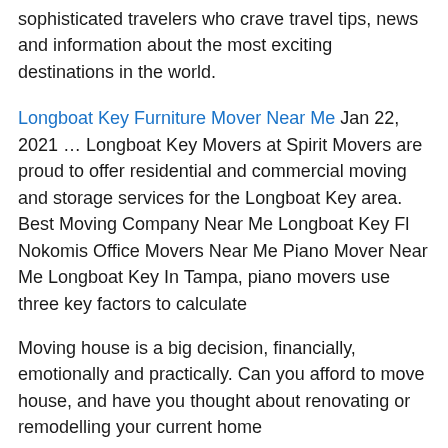sophisticated travelers who crave travel tips, news and information about the most exciting destinations in the world.
Longboat Key Furniture Mover Near Me Jan 22, 2021 … Longboat Key Movers at Spirit Movers are proud to offer residential and commercial moving and storage services for the Longboat Key area. Best Moving Company Near Me Longboat Key Fl Nokomis Office Movers Near Me Piano Mover Near Me Longboat Key In Tampa, piano movers use three key factors to calculate
Moving house is a big decision, financially, emotionally and practically. Can you afford to move house, and have you thought about renovating or remodelling your current home